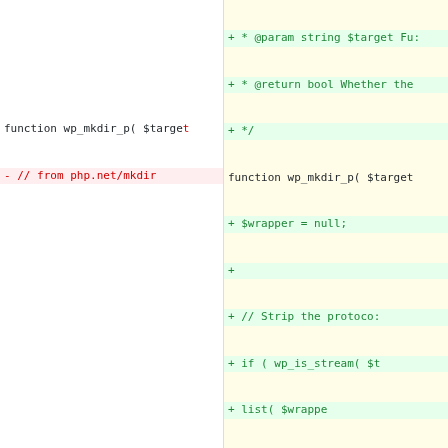[Figure (screenshot): A code diff view showing two panes side by side. Left pane shows the old version with removed lines highlighted in red/pink, right pane shows new version with added lines highlighted in green/yellow. The code is PHP for a wp_mkdir_p function.]